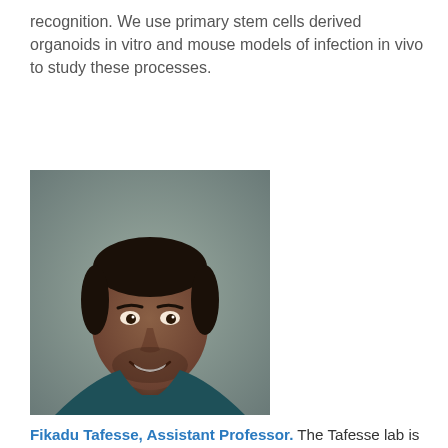recognition. We use primary stem cells derived organoids in vitro and mouse models of infection in vivo to study these processes.
[Figure (photo): Headshot portrait of Fikadu Tafesse, a man wearing a dark teal sweater over a collared shirt, smiling, against a neutral blurred background.]
Fikadu Tafesse, Assistant Professor. The Tafesse lab is interested in studying the roles of cellular lipids in bacterial and viral pathogenesis and their significance on innate and adaptive immunity. We apply novel strategies such as the use of single-domain antibodies/nanobodies not only to unravel the intricate relationships of these pathogens with the host, but also to use as diagnostic and therapeutics tools.